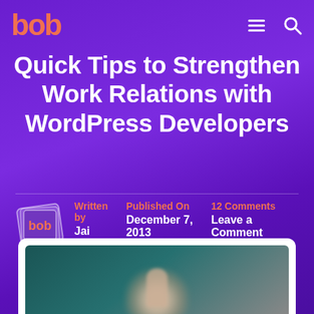bob
Quick Tips to Strengthen Work Relations with WordPress Developers
Written by Jai
Published On December 7, 2013
12 Comments Leave a Comment
[Figure (photo): Bottom card showing a blurred image of a hand giving thumbs up on a teal/dark background, inside a white rounded card.]